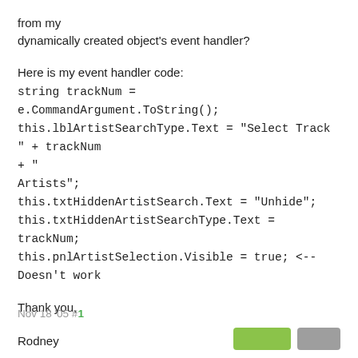from my
dynamically created object's event handler?
Here is my event handler code:
string trackNum = e.CommandArgument.ToString();
this.lblArtistSearchType.Text = "Select Track " + trackNum
+ "
Artists";
this.txtHiddenArtistSearch.Text = "Unhide";
this.txtHiddenArtistSearchType.Text = trackNum;
this.pnlArtistSelection.Visible = true; <-- Doesn't work
Thank you,
Rodney
Nov 18 '05 #1